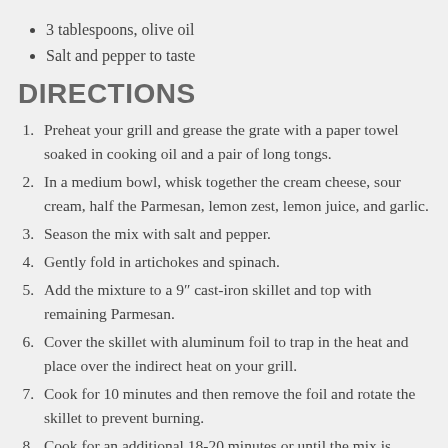3 tablespoons, olive oil
Salt and pepper to taste
DIRECTIONS
Preheat your grill and grease the grate with a paper towel soaked in cooking oil and a pair of long tongs.
In a medium bowl, whisk together the cream cheese, sour cream, half the Parmesan, lemon zest, lemon juice, and garlic.
Season the mix with salt and pepper.
Gently fold in artichokes and spinach.
Add the mixture to a 9″ cast-iron skillet and top with remaining Parmesan.
Cover the skillet with aluminum foil to trap in the heat and place over the indirect heat on your grill.
Cook for 10 minutes and then remove the foil and rotate the skillet to prevent burning.
Cook for an additional 18-20 minutes or until the mix is bubbling and golden brown. Remove from the heat and set aside.